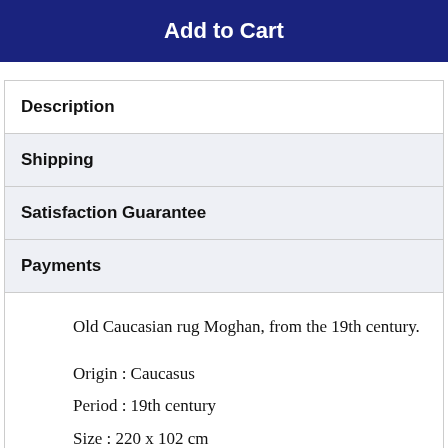Add to Cart
Description
Shipping
Satisfaction Guarantee
Payments
Old Caucasian rug Moghan, from the 19th century.

Origin : Caucasus
Period : 19th century
Size : 220 x 102 cm